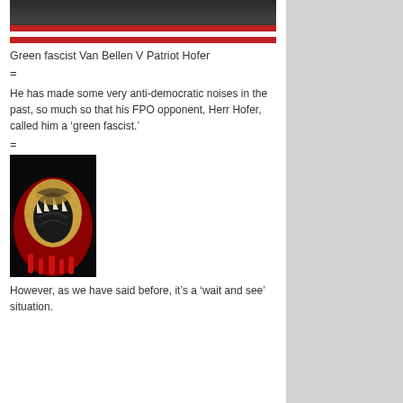[Figure (photo): Two men in suits in front of a red and white striped background — appears to be a debate or interview setting]
Green fascist Van Bellen V Patriot Hofer
=
He has made some very anti-democratic noises in the past, so much so that his FPO opponent, Herr Hofer, called him a ‘green fascist.’
=
[Figure (illustration): Dark illustration with a large open mouth/snake in black and gold tones on a red background — appears to be a political or protest art image]
However, as we have said before, it’s a ‘wait and see’ situation.